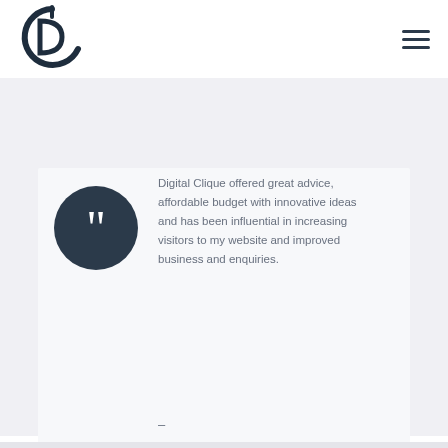[Figure (logo): Digital Clique logo — stylized DC monogram in dark navy circle outline]
[Figure (illustration): Hamburger menu icon (three horizontal lines) in dark navy]
[Figure (illustration): Dark navy circle with large white quotation mark icon]
Digital Clique offered great advice, affordable budget with innovative ideas and has been influential in increasing visitors to my website and improved business and enquiries.
–
burwashbikeboxhire.com